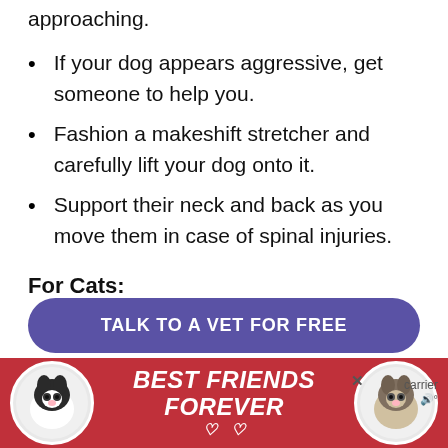approaching.
If your dog appears aggressive, get someone to help you.
Fashion a makeshift stretcher and carefully lift your dog onto it.
Support their neck and back as you move them in case of spinal injuries.
For Cats:
Cover your cats head gently with a
[Figure (infographic): Advertisement banner showing two cats (black and white tuxedo cats) with text 'BEST FRIENDS FOREVER' on red background, and a purple CTA button 'TALK TO A VET FOR FREE']